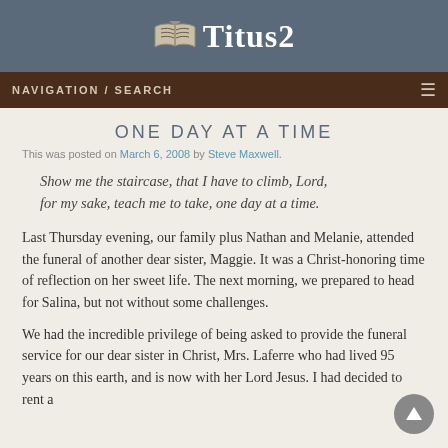Titus2
NAVIGATION / SEARCH
ONE DAY AT A TIME
This was posted on March 6, 2008 by Steve Maxwell.
Show me the staircase, that I have to climb, Lord, for my sake, teach me to take, one day at a time.
Last Thursday evening, our family plus Nathan and Melanie, attended the funeral of another dear sister, Maggie. It was a Christ-honoring time of reflection on her sweet life. The next morning, we prepared to head for Salina, but not without some challenges.
We had the incredible privilege of being asked to provide the funeral service for our dear sister in Christ, Mrs. Laferre who had lived 95 years on this earth, and is now with her Lord Jesus. I had decided to rent a